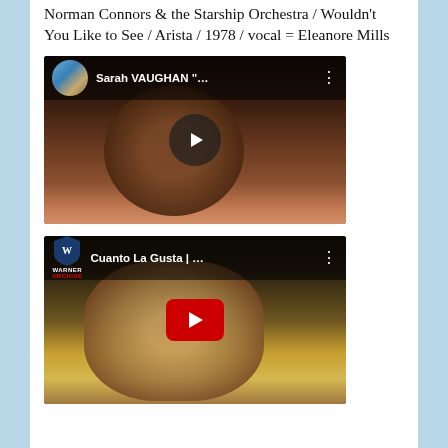Norman Connors & the Starship Orchestra / Wouldn't You Like to See / Arista / 1978 / vocal = Eleanore Mills
[Figure (screenshot): YouTube video thumbnail for Sarah VAUGHAN video, showing a dark-skinned woman with earrings, with a circular play button overlay]
[Figure (screenshot): YouTube video thumbnail for 'Cuanto La Gusta' from Warner Archive, showing a woman and crowd scene, with a red rectangular YouTube play button overlay]